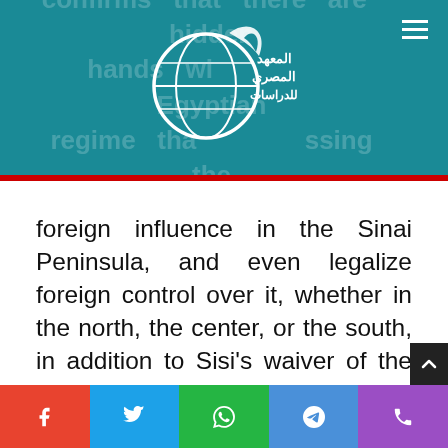confirms that there are hidden hands within Egyptian regime that oversee addressing the foreign influence in the Sinai Peninsula...
[Figure (logo): Al-Masry Institute for Studies logo — globe with flame icon and Arabic text المعهد المصري للدراسات]
foreign influence in the Sinai Peninsula, and even legalize foreign control over it, whether in the north, the center, or the south, in addition to Sisi's waiver of the Red Sea Tiran and Sanafir islands to Saudi Arabia and allocating one thousand square kilometers of land in southern Sinai to Riyadh to be annexed to the NEOM project[1].
Social share bar: Facebook, Twitter, WhatsApp, Telegram, Phone